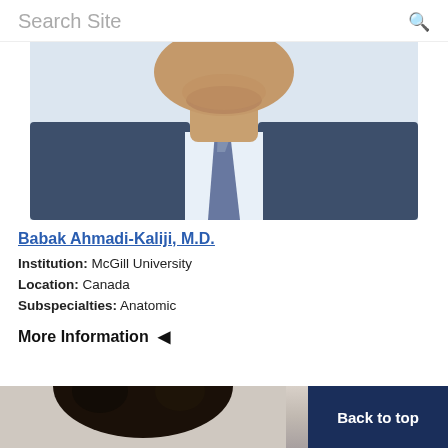Search Site
[Figure (photo): Headshot photo of Babak Ahmadi-Kaliji, M.D. — a man in a dark suit with a blue shirt and patterned tie, cropped from mid-chest up, light background.]
Babak Ahmadi-Kaliji, M.D.
Institution: McGill University
Location: Canada
Subspecialties: Anatomic
More Information ◄
[Figure (photo): Partial headshot of another person — dark curly hair visible against a light background, cropped at bottom of page. A navy blue 'Back to top' button appears on the right.]